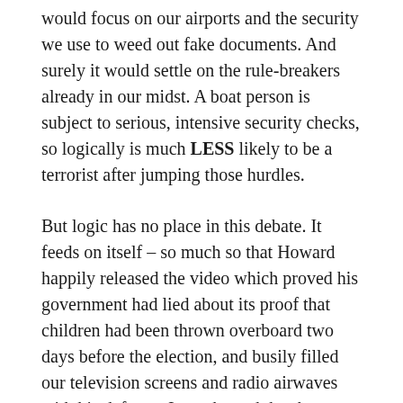would focus on our airports and the security we use to weed out fake documents. And surely it would settle on the rule-breakers already in our midst. A boat person is subject to serious, intensive security checks, so logically is much LESS likely to be a terrorist after jumping those hurdles.
But logic has no place in this debate. It feeds on itself – so much so that Howard happily released the video which proved his government had lied about its proof that children had been thrown overboard two days before the election, and busily filled our television screens and radio airwaves with his defence. In truth, truth has become irrelevant. The emotions fuelled by Howard's campaign, and his tactics of complete identification with people's fears, are visceral. Exposure of untruth cemented support for the misrepresenters.
Logic is unwanted. The use of it merely reminds its users of the irrelevance of their discourse. Beazley's pleas to the public that